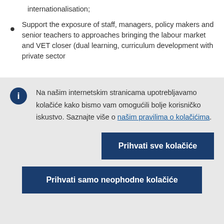internationalisation;
Support the exposure of staff, managers, policy makers and senior teachers to approaches bringing the labour market and VET closer (dual learning, curriculum development with private sector
Na našim internetskim stranicama upotrebljavamo kolačiće kako bismo vam omogućili bolje korisničko iskustvo. Saznajte više o našim pravilima o kolačićima.
Prihvati sve kolačiće
Prihvati samo neophodne kolačiće